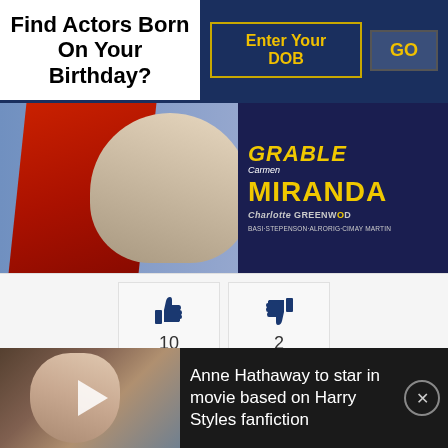Find Actors Born On Your Birthday?
[Figure (screenshot): Movie poster showing GRABLE, Carmen MIRANDA, Charlotte GREENWOOD, with red cloth and cast names at bottom]
[Figure (infographic): Thumbs up icon with count 10 and thumbs down icon with count 2]
While on a trip to America to sell horses, Argentinian race-horse breeder Ricardo Quintana tries to stay away from his father's enemy. When Glenda Crawford shows interest in a horse, Ricardo cancels the deal as he realizes that she belongs to the same family. Glenda
[Figure (screenshot): Video overlay: Anne Hathaway to star in movie based on Harry Styles fanfiction]